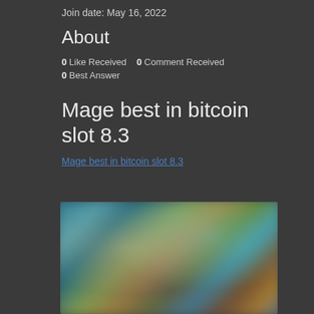Join date: May 16, 2022
About
0 Like Received   0 Comment Received
0 Best Answer
Mage best in bitcoin slot 8.3
Mage best in bitcoin slot 8.3
[Figure (photo): Blurred screenshot of a video game or slot machine game interface with colorful characters and backgrounds]